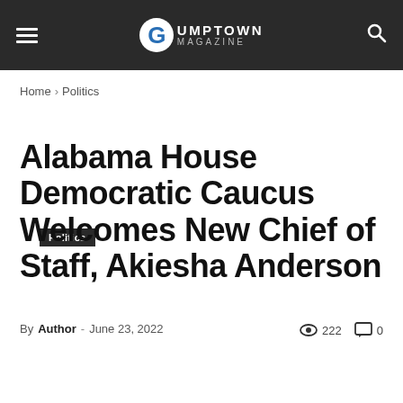Gumptown Magazine
Home › Politics
Politics
Alabama House Democratic Caucus Welcomes New Chief of Staff, Akiesha Anderson
By Author - June 23, 2022   222   0